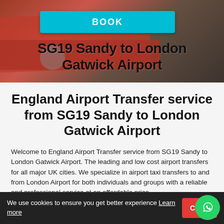[Figure (screenshot): Hero banner with blurred red bus background, showing BOOK button and overlaid text 'SG19 Sandy to London Gatwick Airport']
England Airport Transfer service from SG19 Sandy to London Gatwick Airport
Welcome to England Airport Transfer service from SG19 Sandy to London Gatwick Airport. The leading and low cost airport transfers for all major UK cities. We specialize in airport taxi transfers to and from London Airport for both individuals and groups with a reliable and professional service at an affordable price.
We use cookies to ensure you get better experience Learn more
Close